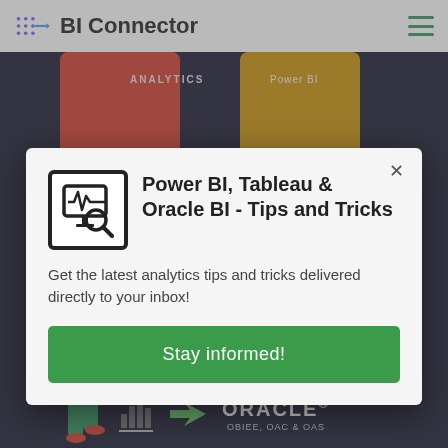BI Connector
[Figure (screenshot): Background webpage showing BI Connector website with puzzle piece graphics, walking figure illustration, and Oracle OBIEE OAC & OAS branding on dark background]
Power BI, Tableau & Oracle BI - Tips and Tricks
Get the latest analytics tips and tricks delivered directly to your inbox!
Stay informed!